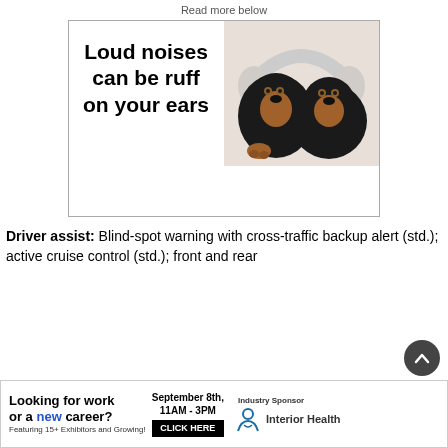Read more below
[Figure (illustration): Advertisement: Two dachshund dogs wearing over-ear headphones with bold text 'Loud noises can be ruff on your ears']
Driver assist: Blind-spot warning with cross-traffic backup alert (std.); active cruise control (std.); front and rear parking (std.); attention monitoring alert for...
[Figure (infographic): Bottom banner ad: 'Looking for work or a new career? Featuring 15+ Exhibitors and Growing! September 8th, 11AM-3PM CLICK HERE. Industry Sponsor: Interior Health']